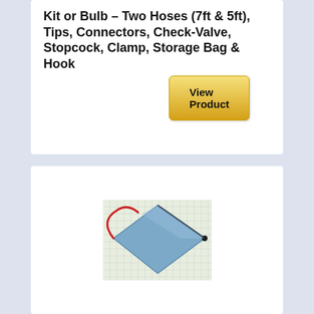Kit or Bulb – Two Hoses (7ft & 5ft), Tips, Connectors, Check-Valve, Stopcock, Clamp, Storage Bag & Hook
View Product
[Figure (photo): Photo of a blue zippered storage pouch/bag with a red wrist strap, partially open, placed on a light grid background]